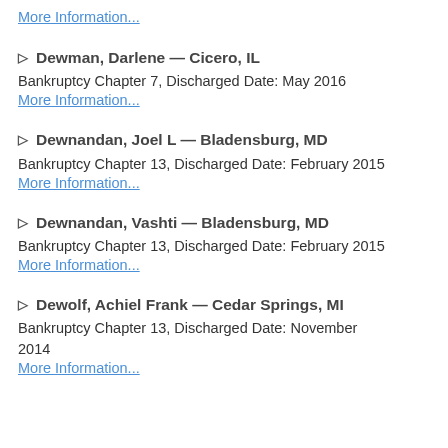More Information...
▷ Dewman, Darlene — Cicero, IL
Bankruptcy Chapter 7, Discharged Date: May 2016
More Information...
▷ Dewnandan, Joel L — Bladensburg, MD
Bankruptcy Chapter 13, Discharged Date: February 2015
More Information...
▷ Dewnandan, Vashti — Bladensburg, MD
Bankruptcy Chapter 13, Discharged Date: February 2015
More Information...
▷ Dewolf, Achiel Frank — Cedar Springs, MI
Bankruptcy Chapter 13, Discharged Date: November 2014
More Information...